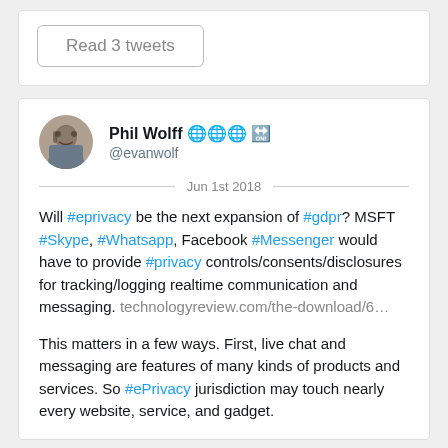Read 3 tweets
Phil Wolff 🌐🌐🌐 🔛
@evanwolf
Jun 1st 2018
Will #eprivacy be the next expansion of #gdpr? MSFT #Skype, #Whatsapp, Facebook #Messenger would have to provide #privacy controls/consents/disclosures for tracking/logging realtime communication and messaging. technologyreview.com/the-download/6…
This matters in a few ways. First, live chat and messaging are features of many kinds of products and services. So #ePrivacy jurisdiction may touch nearly every website, service, and gadget.